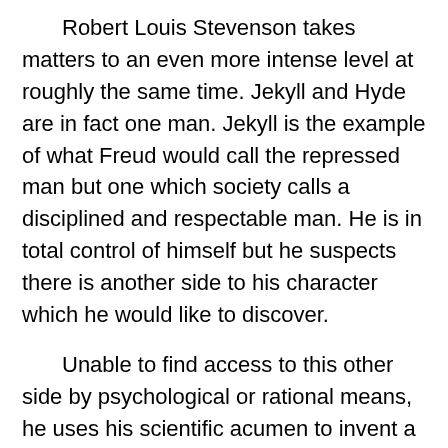Robert Louis Stevenson takes matters to an even more intense level at roughly the same time.  Jekyll and Hyde are in fact one man.  Jekyll is the example of what Freud would call the repressed man but one which society calls a disciplined and respectable man.  He is in total control of himself but he suspects there is another side to his character which he would like to discover.
Unable to find access to this other side by psychological or rational means, he uses his scientific acumen to invent a potion which releases this demon, Mr. Hyde, concealed inside his unconscious.  Hyde is a very destructive character and having been once released he proves impossible to put back in the bottle.  He returns unsummoned.  Eventually he suppresses Jekyll becoming the sole personality.  The jump only works one way.